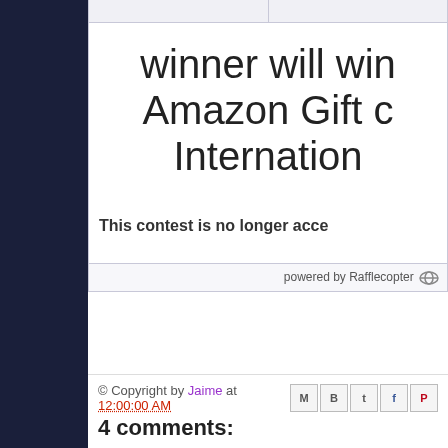[Figure (screenshot): Dark navy blue left sidebar]
winner will win Amazon Gift c Internation
This contest is no longer acce
powered by Rafflecopter
© Copyright by Jaime at 12:00:00 AM
4 comments: